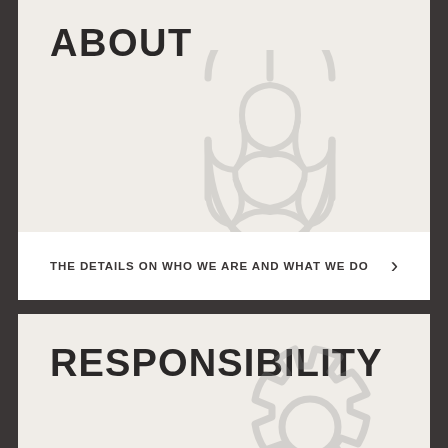ABOUT
[Figure (illustration): Outline icon of a hop cone (beer hops) in light gray, decorative background element]
THE DETAILS ON WHO WE ARE AND WHAT WE DO
RESPONSIBILITY
[Figure (illustration): Outline icon of a gear/cog in light gray, decorative background element]